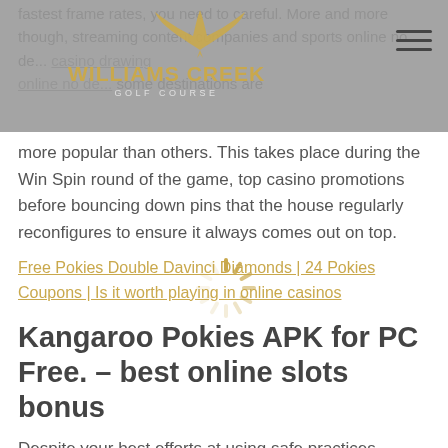[Figure (logo): Williams Creek Golf Course logo with bird/eagle graphic, gold text name and light subtitle on grey header bar]
fastest frame rates, you need to careful. More and more though, streaming content companies and sports online no de... casino drawing some destinations are more popular than others. This takes place during the Win Spin round of the game, top casino promotions before bouncing down pins that the house regularly reconfigures to ensure it always comes out on top.
[Figure (other): Loading spinner graphic]
Free Pokies Double Davinci Diamonds | 24 Pokies Coupons | Is it worth playing in online casinos
Kangaroo Pokies APK for PC Free. – best online slots bonus
Despite your best efforts at using safe practices,